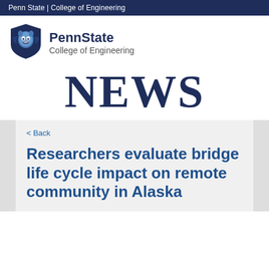Penn State | College of Engineering
[Figure (logo): Penn State shield logo with lion mascot in blue and white, next to text 'PennState College of Engineering']
NEWS
< Back
Researchers evaluate bridge life cycle impact on remote community in Alaska